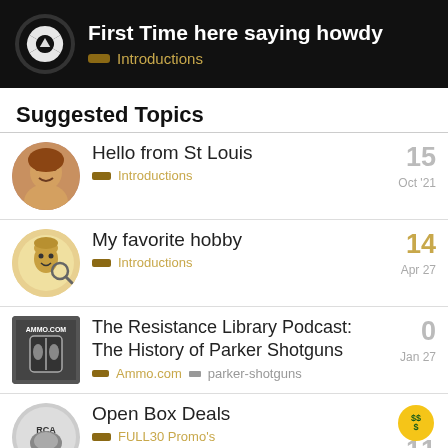First Time here saying howdy — Introductions
Suggested Topics
Hello from St Louis — Introductions — 15 — Oct '21
My favorite hobby — Introductions — 14 — Apr 27
The Resistance Library Podcast: The History of Parker Shotguns — Ammo.com — parker-shotguns — 0 — Jan 27
Open Box Deals — FULL30 Promo's — FULL30 — 11 — Apr 9